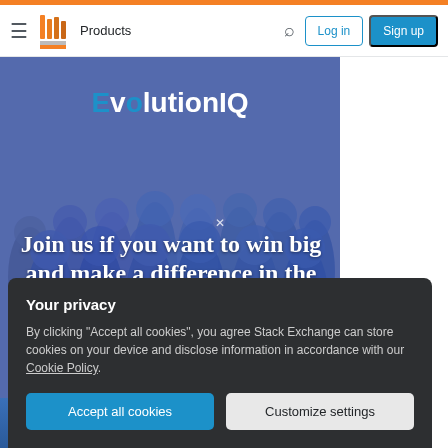Stack Exchange — Products — Log in — Sign up
[Figure (screenshot): EvolutionIQ company team photo with blue overlay and logo text at top. Shows a group of employees standing together.]
Join us if you want to win big and make a difference in the lives of the sick and
Your privacy
By clicking "Accept all cookies", you agree Stack Exchange can store cookies on your device and disclose information in accordance with our Cookie Policy.
Accept all cookies    Customize settings